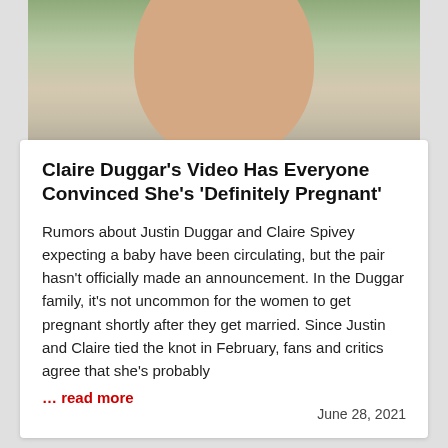[Figure (photo): Close-up photo of a smiling woman with dark curly hair and earrings, cropped at the top of the page.]
Claire Duggar's Video Has Everyone Convinced She's 'Definitely Pregnant'
Rumors about Justin Duggar and Claire Spivey expecting a baby have been circulating, but the pair hasn't officially made an announcement. In the Duggar family, it's not uncommon for the women to get pregnant shortly after they get married. Since Justin and Claire tied the knot in February, fans and critics agree that she's probably
… read more
June 28, 2021